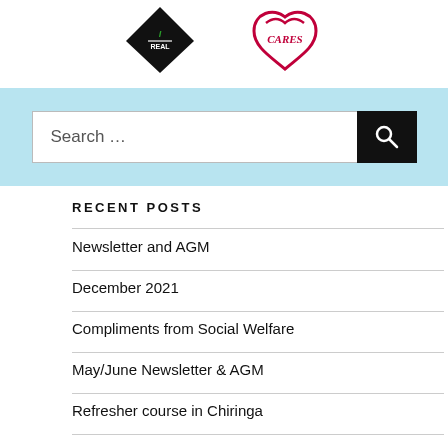[Figure (logo): Two logos side by side: left is a black diamond with green and white text, right is a red cursive heart/scroll logo]
[Figure (screenshot): Search bar with light blue background, white input field with 'Search ...' placeholder text and black search button with magnifying glass icon]
RECENT POSTS
Newsletter and AGM
December 2021
Compliments from Social Welfare
May/June Newsletter & AGM
Refresher course in Chiringa